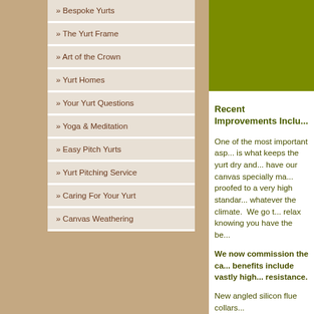» Bespoke Yurts
» The Yurt Frame
» Art of the Crown
» Yurt Homes
» Your Yurt Questions
» Yoga & Meditation
» Easy Pitch Yurts
» Yurt Pitching Service
» Caring For Your Yurt
» Canvas Weathering
[Figure (illustration): Olive green decorative box/image area]
Recent Improvements Inclu...
One of the most important asp... is what keeps the yurt dry and... have our canvas specially ma... proofed to a very high standar... whatever the climate.  We go t... relax knowing you have the be...
We now commission the can... benefits include vastly high... resistance.
New angled silicon flue collars...
Further changes to our standa... thickness, increased joint surfa... rebate to seat the side poles a...